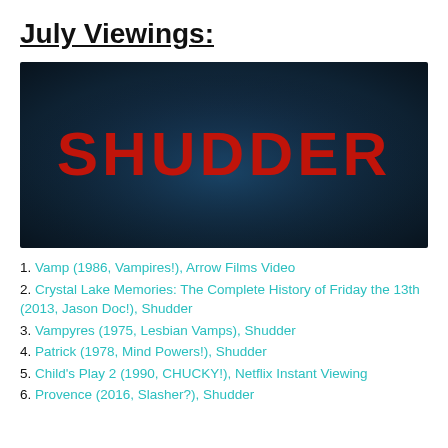July Viewings:
[Figure (logo): Shudder streaming service logo — large red bold text 'SHUDDER' on a dark navy/teal gradient background]
1. Vamp (1986, Vampires!), Arrow Films Video
2. Crystal Lake Memories: The Complete History of Friday the 13th (2013, Jason Doc!), Shudder
3. Vampyres (1975, Lesbian Vamps), Shudder
4. Patrick (1978, Mind Powers!), Shudder
5. Child's Play 2 (1990, CHUCKY!), Netflix Instant Viewing
6. Provence (2016, Slasher?), Shudder